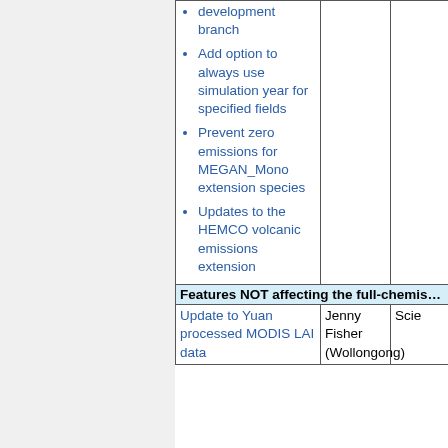| Feature | Contact | Type |
| --- | --- | --- |
| Add option to always use simulation year for specified fields |  |  |
| Prevent zero emissions for MEGAN_Mono extension species |  |  |
| Updates to the HEMCO volcanic emissions extension |  |  |
| Features NOT affecting the full-chemistry simulation |  |  |
| Update to Yuan processed MODIS LAI data | Jenny Fisher (Wollongong) | Scie... |